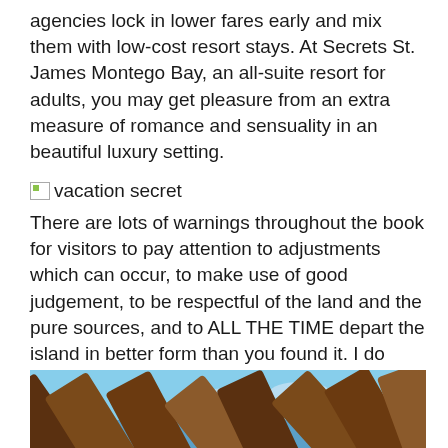agencies lock in lower fares early and mix them with low-cost resort stays. At Secrets St. James Montego Bay, an all-suite resort for adults, you may get pleasure from an extra measure of romance and sensuality in an beautiful luxury setting.
[Figure (other): Broken image placeholder with alt text 'vacation secret']
There are lots of warnings throughout the book for visitors to pay attention to adjustments which can occur, to make use of good judgement, to be respectful of the land and the pure sources, and to ALL THE TIME depart the island in better form than you found it. I do hope that folks studying this ebook will heed these warnings and observe his advice more than they have prior to now.
[Figure (photo): Photo of wooden beams or slats (possibly a pergola or thatched structure) shot from below against a blue sky with clouds.]